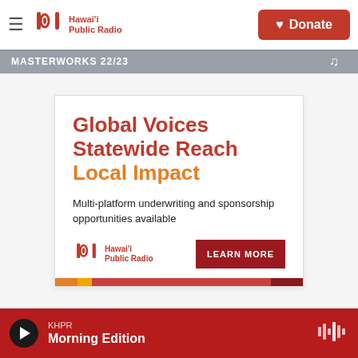Hawai'i Public Radio — Donate
[Figure (screenshot): MASTERWORKS 22/23 banner bar in gray]
[Figure (infographic): Hawaii Public Radio advertisement box: Global Voices Statewide Reach Local Impact — Multi-platform underwriting and sponsorship opportunities available — LEARN MORE button]
KHPR — Morning Edition (player bar)